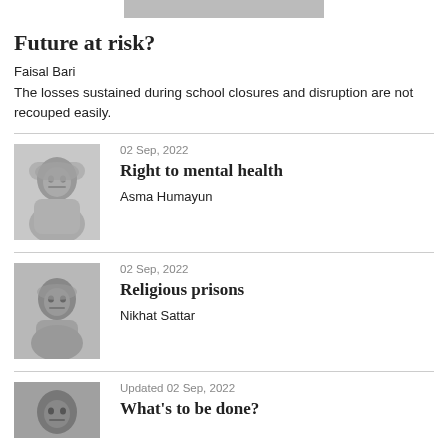Future at risk?
Faisal Bari
The losses sustained during school closures and disruption are not recouped easily.
[Figure (photo): Black and white portrait photo of Asma Humayun wearing a headscarf and glasses]
02 Sep, 2022
Right to mental health
Asma Humayun
[Figure (photo): Black and white portrait photo of Nikhat Sattar]
02 Sep, 2022
Religious prisons
Nikhat Sattar
[Figure (photo): Black and white portrait photo of a man, partially visible]
Updated 02 Sep, 2022
What's to be done?